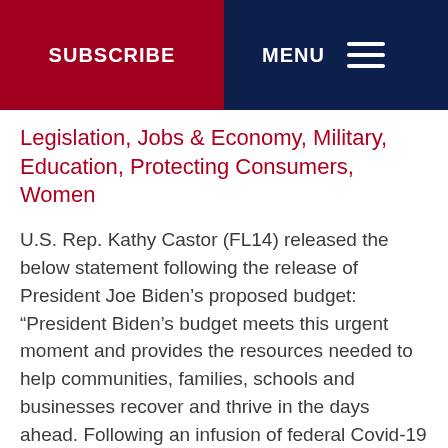SUBSCRIBE | MENU
Legislation, Jobs & Economy, Military, Education, Protecting Consumers, Women
U.S. Rep. Kathy Castor (FL14) released the below statement following the release of President Joe Biden’s proposed budget: “President Biden’s budget meets this urgent moment and provides the resources needed to help communities, families, schools and businesses recover and thrive in the days ahead. Following an infusion of federal Covid-19 aid that served as a bridge for struggling communities, th…
Read more »